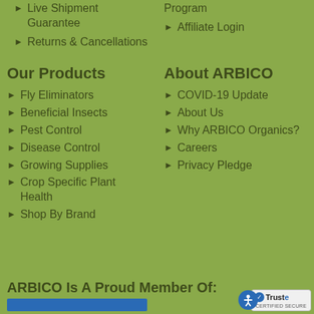Live Shipment Guarantee
Returns & Cancellations
Program
Affiliate Login
Our Products
Fly Eliminators
Beneficial Insects
Pest Control
Disease Control
Growing Supplies
Crop Specific Plant Health
Shop By Brand
About ARBICO
COVID-19 Update
About Us
Why ARBICO Organics?
Careers
Privacy Pledge
ARBICO Is A Proud Member Of: